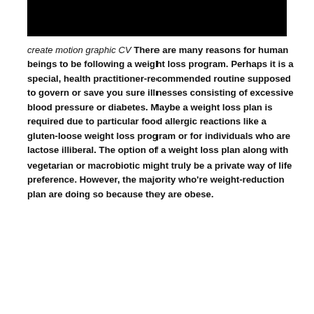[Figure (other): Black rectangular banner/header bar]
create motion graphic CV There are many reasons for human beings to be following a weight loss program. Perhaps it is a special, health practitioner-recommended routine supposed to govern or save you sure illnesses consisting of excessive blood pressure or diabetes. Maybe a weight loss plan is required due to particular food allergic reactions like a gluten-loose weight loss program or for individuals who are lactose illiberal. The option of a weight loss plan along with vegetarian or macrobiotic might truly be a private way of life preference. However, the majority who're weight-reduction plan are doing so because they are obese.